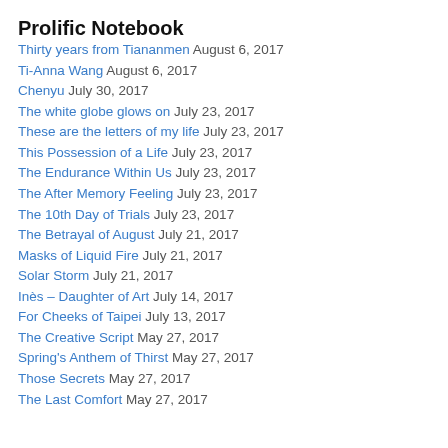Prolific Notebook
Thirty years from Tiananmen August 6, 2017
Ti-Anna Wang August 6, 2017
Chenyu July 30, 2017
The white globe glows on July 23, 2017
These are the letters of my life July 23, 2017
This Possession of a Life July 23, 2017
The Endurance Within Us July 23, 2017
The After Memory Feeling July 23, 2017
The 10th Day of Trials July 23, 2017
The Betrayal of August July 21, 2017
Masks of Liquid Fire July 21, 2017
Solar Storm July 21, 2017
Inès – Daughter of Art July 14, 2017
For Cheeks of Taipei July 13, 2017
The Creative Script May 27, 2017
Spring's Anthem of Thirst May 27, 2017
Those Secrets May 27, 2017
The Last Comfort May 27, 2017